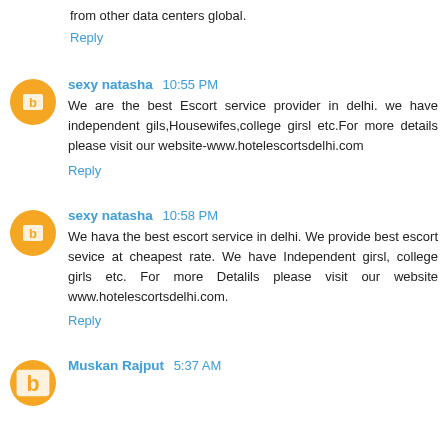from other data centers global.
Reply
sexy natasha 10:55 PM
We are the best Escort service provider in delhi. we have independent gils,Housewifes,college girsl etc.For more details please visit our website-www.hotelescortsdelhi.com
Reply
sexy natasha 10:58 PM
We hava the best escort service in delhi. We provide best escort sevice at cheapest rate. We have Independent girsl, college girls etc. For more Detalils please visit our website www.hotelescortsdelhi.com.
Reply
Muskan Rajput 5:37 AM